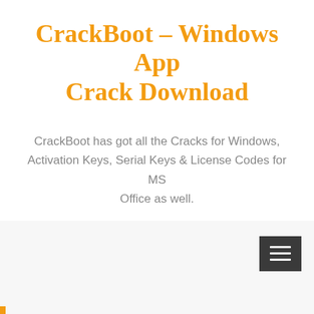CrackBoot – Windows App Crack Download
CrackBoot has got all the Cracks for Windows, Activation Keys, Serial Keys & License Codes for MS Office as well.
[Figure (screenshot): Hamburger menu icon button (3 horizontal lines) on dark grey background, positioned top-right of page lower section]
Origin Pro